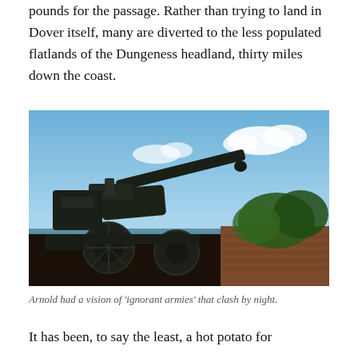pounds for the passage. Rather than trying to land in Dover itself, many are diverted to the less populated flatlands of the Dungeness headland, thirty miles down the coast.
[Figure (photo): A military artillery cannon silhouetted against a blue sky with clouds, with green trees and a distant horizon visible in the background.]
Arnold had a vision of 'ignorant armies' that clash by night.
It has been, to say the least, a hot potato for